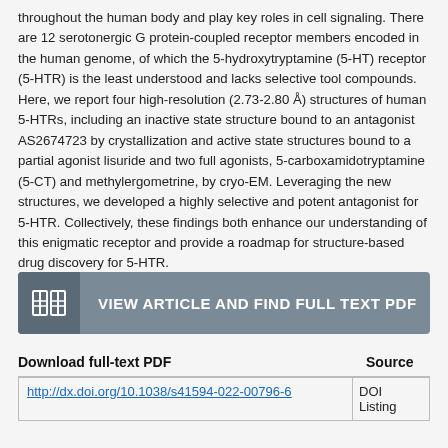throughout the human body and play key roles in cell signaling. There are 12 serotonergic G protein-coupled receptor members encoded in the human genome, of which the 5-hydroxytryptamine (5-HT) receptor (5-HTR) is the least understood and lacks selective tool compounds. Here, we report four high-resolution (2.73-2.80 Å) structures of human 5-HTRs, including an inactive state structure bound to an antagonist AS2674723 by crystallization and active state structures bound to a partial agonist lisuride and two full agonists, 5-carboxamidotryptamine (5-CT) and methylergometrine, by cryo-EM. Leveraging the new structures, we developed a highly selective and potent antagonist for 5-HTR. Collectively, these findings both enhance our understanding of this enigmatic receptor and provide a roadmap for structure-based drug discovery for 5-HTR.
[Figure (other): Button with book/article icon and text: VIEW ARTICLE AND FIND FULL TEXT PDF]
| Download full-text PDF | Source |
| --- | --- |
| http://dx.doi.org/10.1038/s41594-022-00796-6 | DOI Listing |